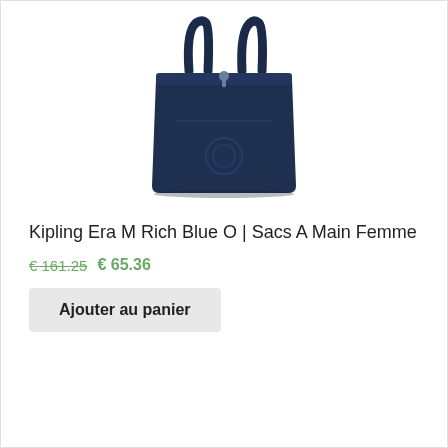[Figure (photo): Dark navy blue Kipling tote bag (Era M) with two top handles, a zipper closure, and a circular Kipling logo embossed on the front panel.]
Kipling Era M Rich Blue O | Sacs A Main Femme
€ 161.25 € 65.36
Ajouter au panier